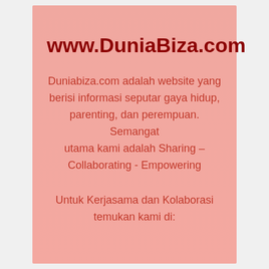www.DuniaBiza.com
Duniabiza.com adalah website yang berisi informasi seputar gaya hidup, parenting, dan perempuan. Semangat utama kami adalah Sharing – Collaborating - Empowering
Untuk Kerjasama dan Kolaborasi temukan kami di: